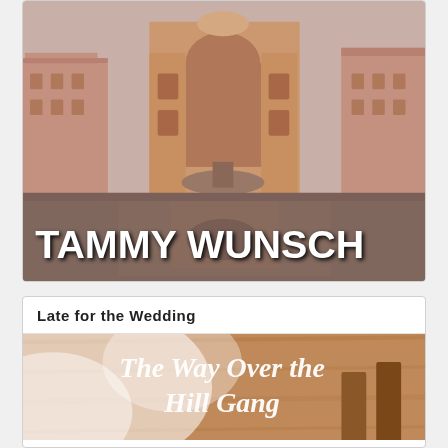[Figure (illustration): Book cover image showing a European city square with a decorative arch/gate and fountain reflection in water. Author name 'TAMMY WUNSCH' displayed in large bold white text over the image.]
Late for the Wedding
[Figure (illustration): Book cover image with title 'The Way Over the Hill Gang' in cursive white text over a warm wooden background with a bride in a white veil visible.]